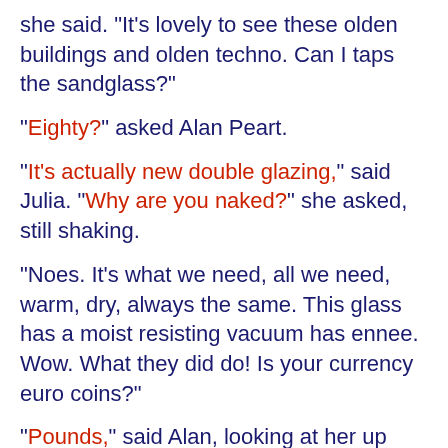she said. "It's lovely to see these olden buildings and olden techno. Can I taps the sandglass?"
"Eighty?" asked Alan Peart.
"It's actually new double glazing," said Julia. "Why are you naked?" she asked, still shaking.
"Noes. It's what we need, all we need, warm, dry, always the same. This glass has a moist resisting vacuum has ennee. Wow. What they did do! Is your currency euro coins?"
"Pounds," said Alan, looking at her up and down.
"OK. The archetechnos outside the shop bank. Money coins from there?"